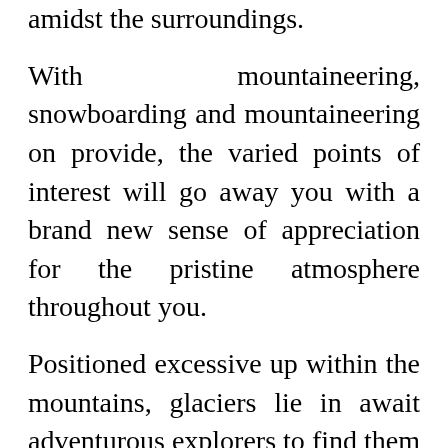amidst the surroundings.
With mountaineering, snowboarding and mountaineering on provide, the varied points of interest will go away you with a brand new sense of appreciation for the pristine atmosphere throughout you.
Positioned excessive up within the mountains, glaciers lie in await adventurous explorers to find them over again, recapturing that sense of awe and astonishment on the gigantic expanses of ice.